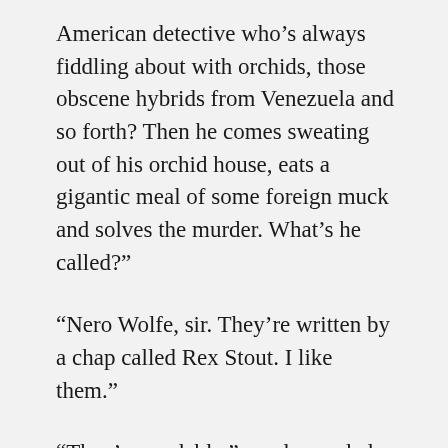American detective who’s always fiddling about with orchids, those obscene hybrids from Venezuela and so forth? Then he comes sweating out of his orchid house, eats a gigantic meal of some foreign muck and solves the murder. What’s he called?”
“Nero Wolfe, sir. They’re written by a chap called Rex Stout. I like them.”
“They’re readable,” condescended M. “But I was